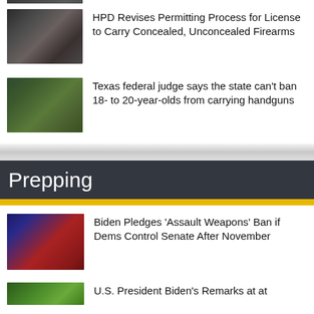[Figure (photo): Partial view of firearms/guns photo at top of page (cropped)]
HPD Revises Permitting Process for License to Carry Concealed, Unconcealed Firearms
[Figure (photo): Collection of handguns laid out on a surface]
Texas federal judge says the state can't ban 18- to 20-year-olds from carrying handguns
[Figure (photo): Multiple rifles and long guns on green surface]
Prepping
Biden Pledges 'Assault Weapons' Ban if Dems Control Senate After November
[Figure (photo): President Biden speaking at a podium with American flag background]
U.S. President Biden's Remarks at at